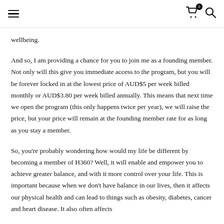Navigation header with hamburger menu, cart icon with badge 0, and search icon
wellbeing.
And so, I am providing a chance for you to join me as a founding member. Not only will this give you immediate access to the program, but you will be forever locked in at the lowest price of AUD$5 per week billed monthly or AUD$3.80 per week billed annually. This means that next time we open the program (this only happens twice per year), we will raise the price, but your price will remain at the founding member rate for as long as you stay a member.
So, you're probably wondering how would my life be different by becoming a member of H360? Well, it will enable and empower you to achieve greater balance, and with it more control over your life. This is important because when we don't have balance in our lives, then it affects our physical health and can lead to things such as obesity, diabetes, cancer and heart disease. It also often affects